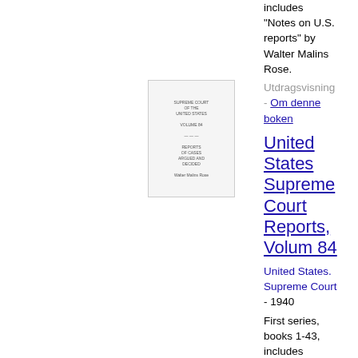includes "Notes on U.S. reports" by Walter Malins Rose.
Utdragsvisning - Om denne boken
[Figure (illustration): Thumbnail image of a book cover for United States Supreme Court Reports, Volume 84]
United States Supreme Court Reports, Volum 84
United States. Supreme Court - 1940
First series, books 1-43, includes "Notes on U.S. reports" by Walter Malins Rose.
Utdragsvisning - Om denne boken